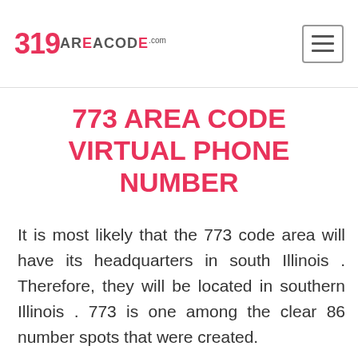319areacode.com
773 AREA CODE VIRTUAL PHONE NUMBER
It is most likely that the 773 code area will have its headquarters in south Illinois . Therefore, they will be located in southern Illinois . 773 is one among the clear 86 number spots that were created.